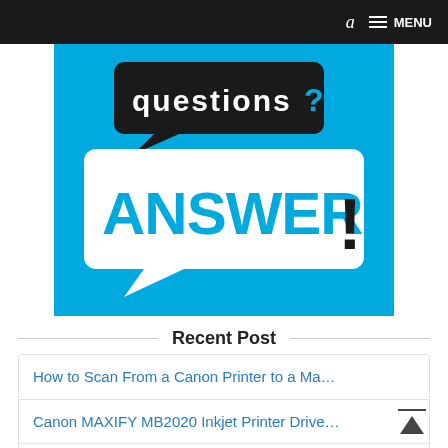a MENU
[Figure (illustration): Blue background graphic with speech bubbles showing 'questions?' in a dark bubble and 'ANSWERS!' in a white bubble with blue text]
Recent Post
How to Scan From a Canon Printer to a Ma…
Canon MAXIFY MB2020 Inkjet Printer Drive…
Canon PIXMA TS6350 Printer Driver